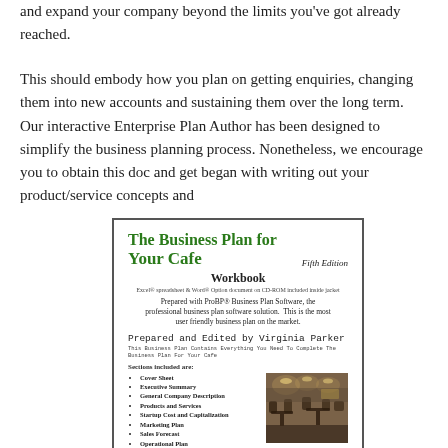and expand your company beyond the limits you've got already reached.
This should embody how you plan on getting enquiries, changing them into new accounts and sustaining them over the long term. Our interactive Enterprise Plan Author has been designed to simplify the business planning process. Nonetheless, we encourage you to obtain this doc and get began with writing out your product/service concepts and
[Figure (illustration): Book cover thumbnail: 'The Business Plan for Your Cafe, Fifth Edition, Workbook'. Prepared with ProBP Business Plan Software. Prepared and Edited by Virginia Parker. Lists sections: Cover Sheet, Executive Summary, General Company Description, Products and Services, Startup Cost and Capitalization, Marketing Plan, Sales Forecast, Operational Plan, Management and Organization, Financial Plan (Profit-Loss Statement, Projected Cash Flow, Balance Sheet). Includes a small cafe interior photo.]